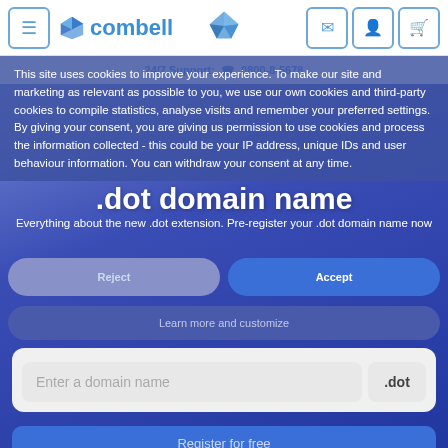combell — hamburger menu, logo, drive icon, email icon, account icon, cart icon
24/7 Support: ☎ 0800-8-5678
This site uses cookies to improve your experience. To make our site and marketing as relevant as possible to you, we use our own cookies and third-party cookies to compile statistics, analyse visits and remember your preferred settings. By giving your consent, you are giving us permission to use cookies and process the information collected - this could be your IP address, unique IDs and user behaviour information. You can withdraw your consent at any time.
.dot domain name
Everything about the new .dot extension. Pre-register your .dot domain name now
Reject
Accept
Learn more and customize
Enter a domain name
.dot
Register for free